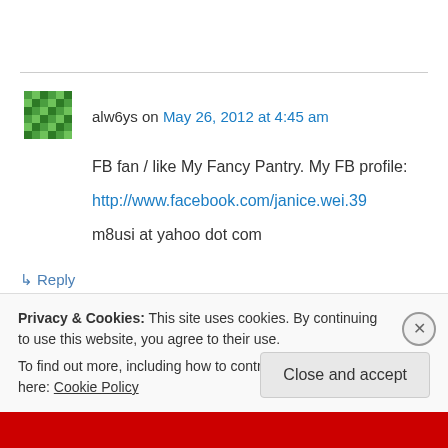alw6ys on May 26, 2012 at 4:45 am
FB fan / like My Fancy Pantry. My FB profile:
http://www.facebook.com/janice.wei.39

m8usi at yahoo dot com
↳ Reply
Privacy & Cookies: This site uses cookies. By continuing to use this website, you agree to their use.
To find out more, including how to control cookies, see here: Cookie Policy